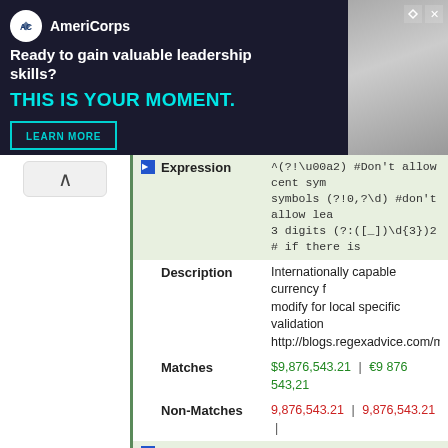[Figure (infographic): AmeriCorps advertisement banner. Dark navy background. AmeriCorps logo (white circle with arrow icon). Text: AmeriCorps, Ready to gain valuable leadership skills?, THIS IS YOUR MOMENT. LEARN MORE button. Photo of people on right side.]
| Expression | ^(?!\u00a2) #Don't allow cent sym symbols (?!0,?\d) #don't allow lea 3 digits (?:([_])\d{3})2 # if there is |
| Description | Internationally capable currency f modify for local specific validation http://blogs.regexadvice.com/mas |
| Matches | $9,876,543.21   |   €9 876 543,21 |
| Non-Matches | 9,876,543.21   |   9,876,543.21   | |
| Author | Michael Ash |
| Title | A.D. Calendar dates |
| Expression | (?#Calandar from January 1st 1 A dd format )(?!(?:1582\D10\D(?:0? (?:1752\D0029\D(?:0?[3-9]|1[0-3]) |
| Description | yyyy-mm-dd Datetime for AD, wit http://blogs.regexadvice.com/mas on similar regexs |
| Matches | 0001-06-16 12:00:01 AM   |   200 |
| Non-Matches | 9999/99/99   |   24:00:00   |   200 |
| Author | Michael Ash |